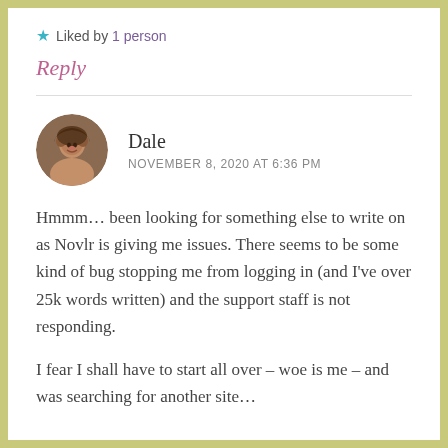★ Liked by 1 person
Reply
Dale
NOVEMBER 8, 2020 AT 6:36 PM
Hmmm... been looking for something else to write on as Novlr is giving me issues. There seems to be some kind of bug stopping me from logging in (and I've over 25k words written) and the support staff is not responding.
I fear I shall have to start all over – woe is me – and was searching for another site...